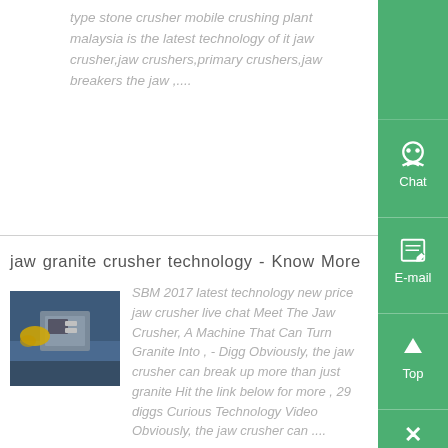type stone crusher mobile crushing plant malaysia is the latest technology of it jaw crusher,jaw crushers,primary crushers,jaw breakers the jaw ....
jaw granite crusher technology - Know More
[Figure (photo): Photo of machinery/industrial equipment - person in yellow gloves working on a machine, blue industrial background]
SBM 2017 latest technology new price jaw crusher live chat Meet The Jaw Crusher, A Machine That Can Turn Granite Into , - Digg Obviously, the jaw crusher can break up more than just granite Hit the link below for more , 29 diggs Curious Technology Video Obviously, the jaw crusher can ....